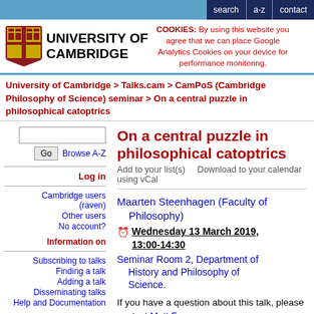search | a-z | contact
[Figure (logo): University of Cambridge shield logo and wordmark]
COOKIES: By using this website you agree that we can place Google Analytics Cookies on your device for performance monitoring.
University of Cambridge > Talks.cam > CamPoS (Cambridge Philosophy of Science) seminar > On a central puzzle in philosophical catoptrics
On a central puzzle in philosophical catoptrics
Add to your list(s)    Download to your calendar using vCal
Maarten Steenhagen (Faculty of Philosophy)
Wednesday 13 March 2019, 13:00-14:30
Seminar Room 2, Department of History and Philosophy of Science.
If you have a question about this talk, please contact Matt Farr.
This paper will address one of the
Log in
Cambridge users (raven)
Other users
No account?
Information on
Subscribing to talks
Finding a talk
Adding a talk
Disseminating talks
Help and Documentation